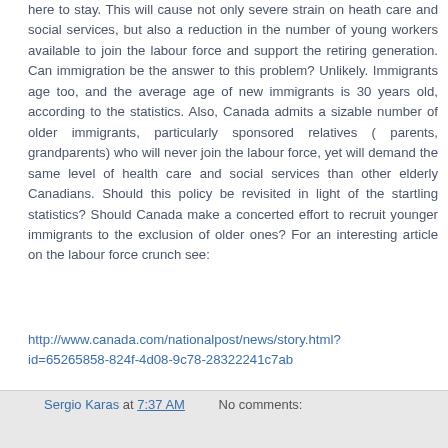here to stay. This will cause not only severe strain on heath care and social services, but also a reduction in the number of young workers available to join the labour force and support the retiring generation. Can immigration be the answer to this problem? Unlikely. Immigrants age too, and the average age of new immigrants is 30 years old, according to the statistics. Also, Canada admits a sizable number of older immigrants, particularly sponsored relatives ( parents, grandparents) who will never join the labour force, yet will demand the same level of health care and social services than other elderly Canadians. Should this policy be revisited in light of the startling statistics? Should Canada make a concerted effort to recruit younger immigrants to the exclusion of older ones? For an interesting article on the labour force crunch see:
http://www.canada.com/nationalpost/news/story.html?id=65265858-824f-4d08-9c78-28322241c7ab
Sergio Karas at 7:37 AM   No comments: